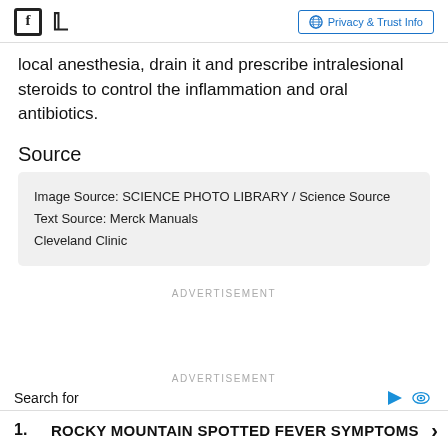Facebook icon, Twitter icon, Privacy & Trust Info
local anesthesia, drain it and prescribe intralesional steroids to control the inflammation and oral antibiotics.
Source
Image Source: SCIENCE PHOTO LIBRARY / Science Source
Text Source: Merck Manuals
Cleveland Clinic
ADVERTISEMENT
ADVERTISEMENT
Search for
1. ROCKY MOUNTAIN SPOTTED FEVER SYMPTOMS